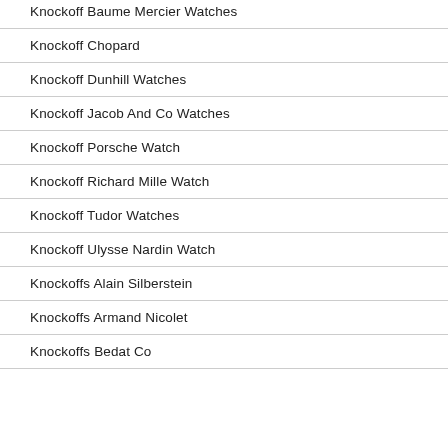Knockoff Baume Mercier Watches
Knockoff Chopard
Knockoff Dunhill Watches
Knockoff Jacob And Co Watches
Knockoff Porsche Watch
Knockoff Richard Mille Watch
Knockoff Tudor Watches
Knockoff Ulysse Nardin Watch
Knockoffs Alain Silberstein
Knockoffs Armand Nicolet
Knockoffs Bedat Co